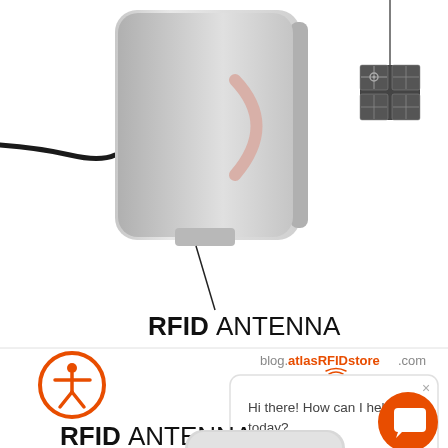[Figure (illustration): Screenshot of blog.atlasRFIDstore.com showing RFID antenna diagram with a labeled RFID antenna (white/grey rectangular device with cable), an RFID tag icon in the upper right, and a chat popup saying 'Hi there! How can I help you today?'. An accessibility icon (orange circle with person figure) appears on the left. A second RFID antenna label and partial antenna image appears at the bottom. The page URL 'blog.atlasRFIDstore.com' with orange 'atlasRFIDstore' text is visible.]